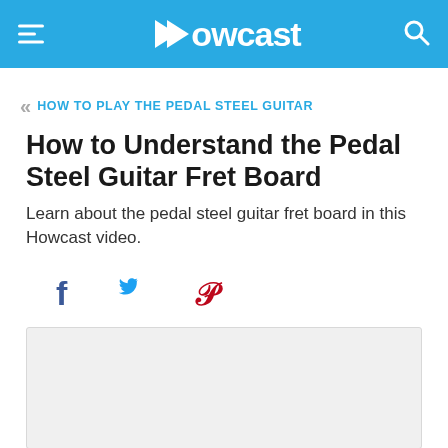Howcast
HOW TO PLAY THE PEDAL STEEL GUITAR
How to Understand the Pedal Steel Guitar Fret Board
Learn about the pedal steel guitar fret board in this Howcast video.
[Figure (other): Social sharing icons: Facebook (f), Twitter (bird), Pinterest (P)]
[Figure (other): Video or content placeholder box with light gray background]